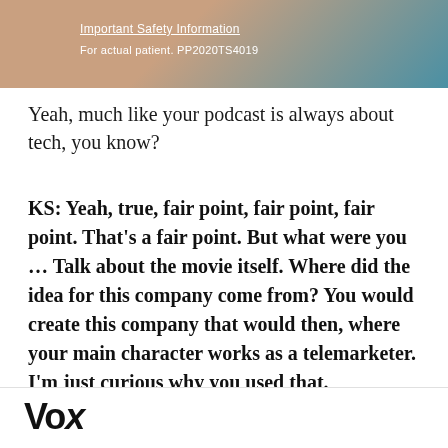[Figure (screenshot): Partial screenshot showing 'Important Safety Information' text and 'For actual patient. PP2020TS4019' on a skin-toned/teal background with black bar on left]
Yeah, much like your podcast is always about tech, you know?
KS: Yeah, true, fair point, fair point, fair point. That's a fair point. But what were you ... Talk about the movie itself. Where did the idea for this company come from? You would create this company that would then, where your main character works as a telemarketer. I'm just curious why you used that.
So you're talking about WorryFree?
Vox